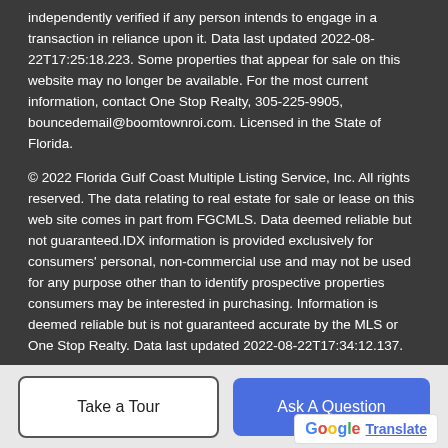independently verified if any person intends to engage in a transaction in reliance upon it. Data last updated 2022-08-22T17:25:18.223. Some properties that appear for sale on this website may no longer be available. For the most current information, contact One Stop Realty, 305-225-9905, bouncedemail@boomtownroi.com. Licensed in the State of Florida.
© 2022 Florida Gulf Coast Multiple Listing Service, Inc. All rights reserved. The data relating to real estate for sale or lease on this web site comes in part from FGCMLS. Data deemed reliable but not guaranteed.IDX information is provided exclusively for consumers' personal, non-commercial use and may not be used for any purpose other than to identify prospective properties consumers may be interested in purchasing. Information is deemed reliable but is not guaranteed accurate by the MLS or One Stop Realty. Data last updated 2022-08-22T17:34:12.137.
Take a Tour | Ask A Question | Translate